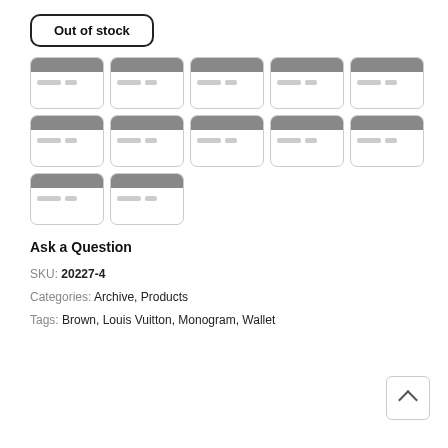Out of stock
[Figure (illustration): Grid of 12 credit card placeholder icons arranged in 3 rows (5, 5, 2), each showing a gray magnetic strip and two gray lines representing card details]
Ask a Question
SKU: 20227-4
Categories: Archive, Products
Tags: Brown, Louis Vuitton, Monogram, Wallet